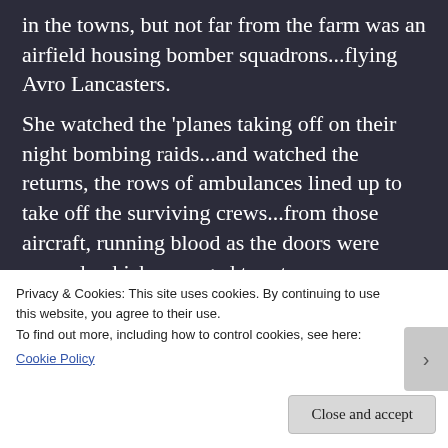in the towns, but not far from the farm was an airfield housing bomber squadrons...flying Avro Lancasters.
She watched the 'planes taking off on their night bombing raids...and watched the returns, the rows of ambulances lined up to take off the surviving crews...from those aircraft, running blood as the doors were opened, which managed to return.
The rate of attrition in Bomber Command was phenomenal...and she determined that,
Privacy & Cookies: This site uses cookies. By continuing to use this website, you agree to their use.
To find out more, including how to control cookies, see here:
Cookie Policy
Close and accept